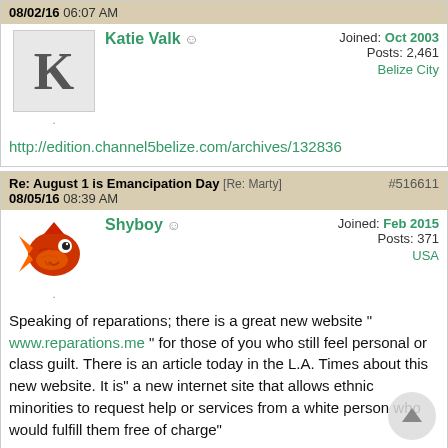08/02/16 06:07 AM
Katie Valk — Joined: Oct 2003 — Posts: 2,461 — Belize City
http://edition.channel5belize.com/archives/132836
Re: August 1 is Emancipation Day [Re: Marty] #516611 — 08/05/16 08:39 AM
Shyboy — Joined: Feb 2015 — Posts: 371 — USA
Speaking of reparations; there is a great new website " www.reparations.me " for those of you who still feel personal or class guilt. There is an article today in the L.A. Times about this new website. It is" a new internet site that allows ethnic minorities to request help or services from a white person who would fulfill them free of charge"